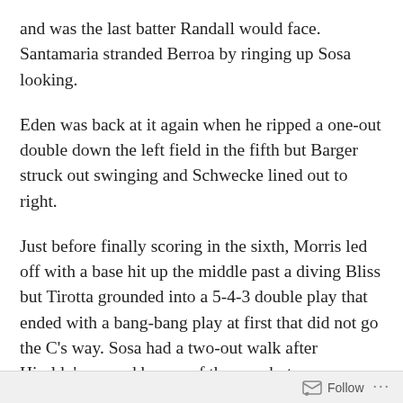and was the last batter Randall would face. Santamaria stranded Berroa by ringing up Sosa looking.
Eden was back at it again when he ripped a one-out double down the left field in the fifth but Barger struck out swinging and Schwecke lined out to right.
Just before finally scoring in the sixth, Morris led off with a base hit up the middle past a diving Bliss but Tirotta grounded into a 5-4-3 double play that ended with a bang-bang play at first that did not go the C's way. Sosa had a two-out walk after Hiraldo's second homer of the year but
Follow